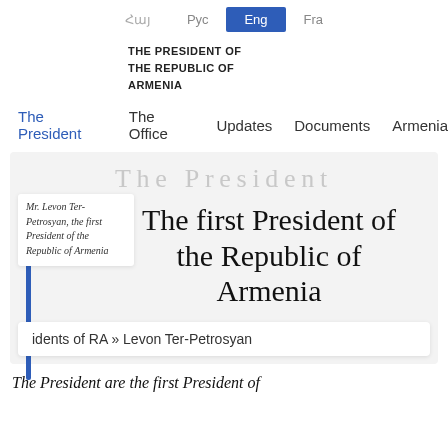Հայ  Рус  Eng  Fra
THE PRESIDENT OF THE REPUBLIC OF ARMENIA
The President  The Office  Updates  Documents  Armenia
The President
The first President of the Republic of Armenia
Mr. Levon Ter-Petrosyan, the first President of the Republic of Armenia
idents of RA » Levon Ter-Petrosyan
The President are the first President of